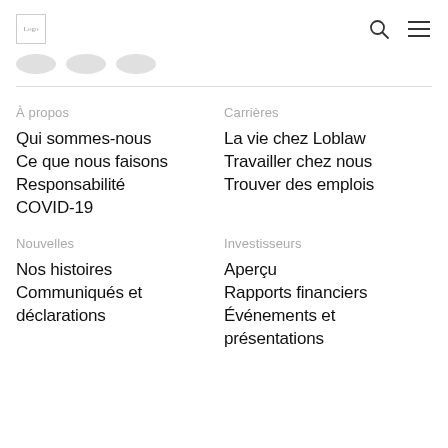Logo [search icon] [menu icon]
À propos
Qui sommes-nous
Ce que nous faisons
Responsabilité
COVID-19
Carrières
La vie chez Loblaw
Travailler chez nous
Trouver des emplois
Nouvelles
Nos histoires
Communiqués et déclarations
Investisseurs
Aperçu
Rapports financiers
Événements et présentations